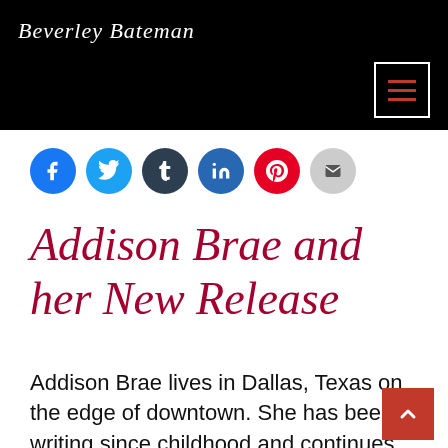Beverley Bateman
[Figure (other): Social share icons row: Facebook, Twitter, Tumblr, LinkedIn, Pinterest, Email]
Addison Brae and her New Release
Addison Brae lives in Dallas, Texas on the edge of downtown. She has been writing since childhood and continues today with articles, video scripts, and other content as an independent marketing consultant. Addiso enjoys traveling, collecting interesting cocktail